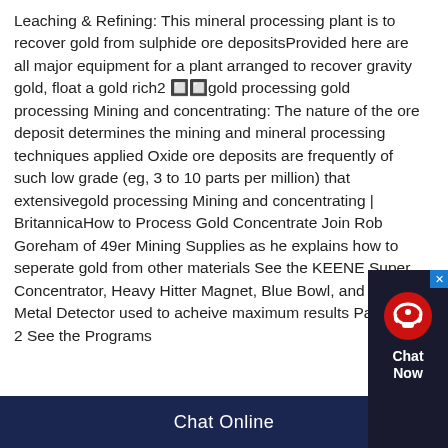Leaching & Refining: This mineral processing plant is to recover gold from sulphide ore depositsProvided here are all major equipment for a plant arranged to recover gravity gold, float a gold rich2 🔲🔲gold processing gold processing Mining and concentrating: The nature of the ore deposit determines the mining and mineral processing techniques applied Oxide ore deposits are frequently of such low grade (eg, 3 to 10 parts per million) that extensivegold processing Mining and concentrating | BritannicaHow to Process Gold Concentrate Join Rob Goreham of 49er Mining Supplies as he explains how to seperate gold from other materials See the KEENE Super Concentrator, Heavy Hitter Magnet, Blue Bowl, and Falcon Metal Detector used to acheive maximum results Part 2 of 2 See the Programs
[Figure (other): Chat Now widget — red and dark background with headset icon, close button (X), and 'Chat Now' text]
Chat Online